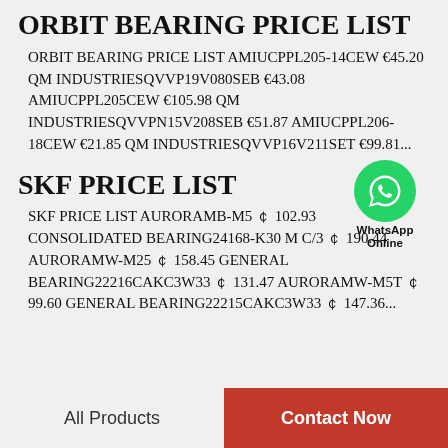ORBIT BEARING PRICE LIST
ORBIT BEARING PRICE LIST AMIUCPPL205-14CEW €45.20 QM INDUSTRIESQVVP19V080SEB €43.08 AMIUCPPL205CEW €105.98 QM INDUSTRIESQVVPN15V208SEB €51.87 AMIUCPPL206-18CEW €21.85 QM INDUSTRIESQVVP16V211SET €99.81...
SKF PRICE LIST
[Figure (logo): WhatsApp green circle icon with phone receiver symbol, labeled 'WhatsApp Online']
SKF PRICE LIST AURORAMB-M5 ￠ 102.93 CONSOLIDATED BEARING24168-K30 M C/3 ￠ 190.44 AURORAMW-M25 ￠ 158.45 GENERAL BEARING22216CAKC3W33 ￠ 131.47 AURORAMW-M5T ￠ 99.60 GENERAL BEARING22215CAKC3W33 ￠ 147.36...
All Products   Contact Now